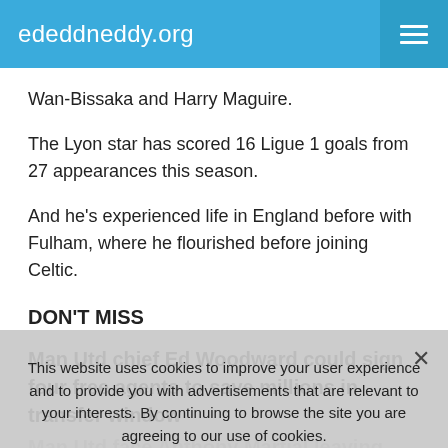ededdneddy.org
Wan-Bissaka and Harry Maguire.
The Lyon star has scored 16 Ligue 1 goals from 27 appearances this season.
And he's experienced life in England before with Fulham, where he flourished before joining Celtic.
DON'T MISS
Man Utd chief Ed Woodward could sign four free agents to save millions in transfer window
Man Utd face Anthony Martial leaving Old Trafford if Ole Gunnar Solskjaer fails mission
This website uses cookies to improve your user experience and to provide you with advertisements that are relevant to your interests. By continuing to browse the site you are agreeing to our use of cookies.